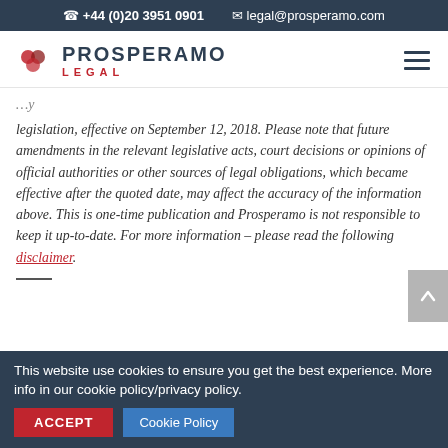+44 (0)20 3951 0901  legal@prosperamo.com
[Figure (logo): Prosperamo Legal logo with red geometric icon and text 'PROSPERAMO LEGAL']
legislation, effective on September 12, 2018. Please note that future amendments in the relevant legislative acts, court decisions or opinions of official authorities or other sources of legal obligations, which became effective after the quoted date, may affect the accuracy of the information above. This is one-time publication and Prosperamo is not responsible to keep it up-to-date. For more information – please read the following disclaimer.
—
This website use cookies to ensure you get the best experience. More info in our cookie policy/privacy policy.